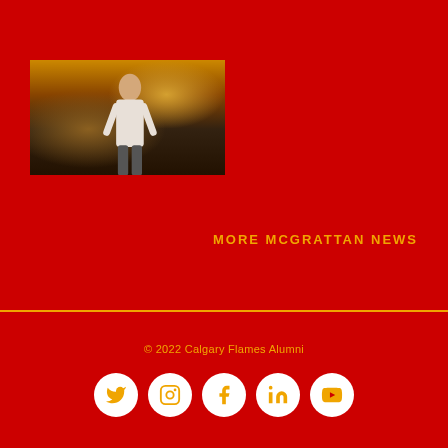[Figure (photo): Thumbnail photo of a man in a crowded venue with signs and lights in the background]
MORE MCGRATTAN NEWS
© 2022 Calgary Flames Alumni
[Figure (infographic): Social media icons: Twitter, Instagram, Facebook, LinkedIn, YouTube — white circles with gold icons on red background]